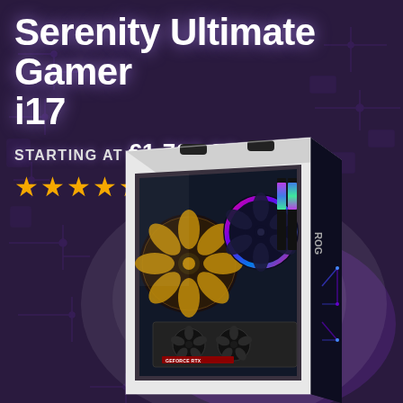Serenity Ultimate Gamer i17
STARTING AT €1,709.06
★★★★★
[Figure (photo): Gaming PC tower (Serenity Ultimate Gamer i17) with white case and tempered glass side panel, showing RGB cooling fan, RAM sticks with RGB lighting, and a GeForce RTX graphics card inside. The right side panel has a ROG (Republic of Gamers) logo with blue/purple circuit-style design. Background is a dark purple circuit board texture.]